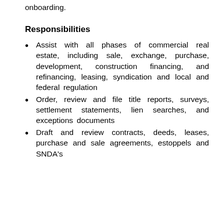onboarding.
Responsibilities
Assist with all phases of commercial real estate, including sale, exchange, purchase, development, construction financing, and refinancing, leasing, syndication and local and federal regulation
Order, review and file title reports, surveys, settlement statements, lien searches, and exceptions documents
Draft and review contracts, deeds, leases, purchase and sale agreements, estoppels and SNDA's